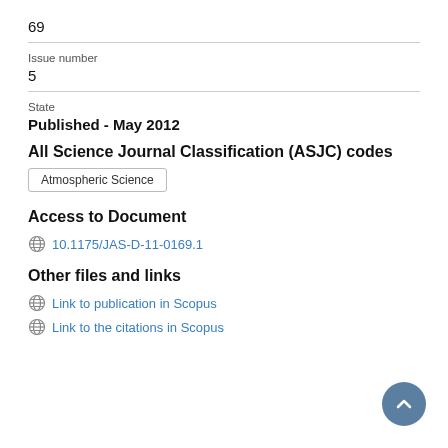69
Issue number
5
State
Published - May 2012
All Science Journal Classification (ASJC) codes
Atmospheric Science
Access to Document
10.1175/JAS-D-11-0169.1
Other files and links
Link to publication in Scopus
Link to the citations in Scopus